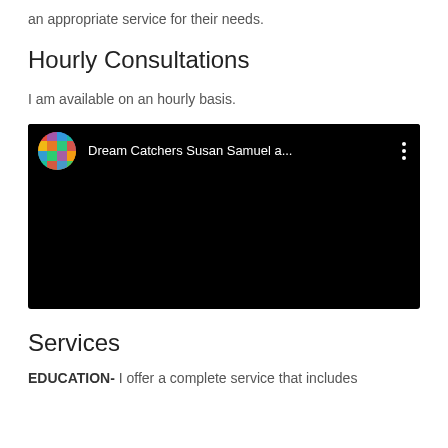an appropriate service for their needs.
Hourly Consultations
I am available on an hourly basis.
[Figure (screenshot): Embedded video player (black background) showing a YouTube-style video thumbnail with a colorful circular channel icon and the title 'Dream Catchers Susan Samuel a...' in white text, with a three-dot menu icon on the right.]
Services
EDUCATION- I offer a complete service that includes